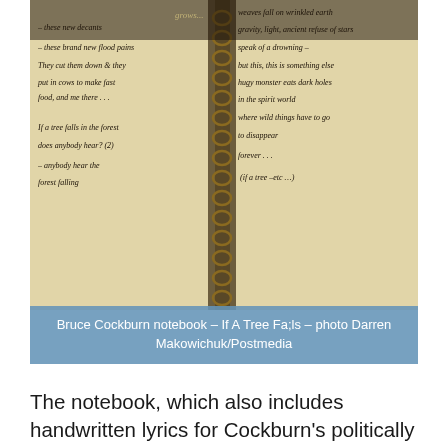[Figure (photo): A spiral-bound notebook open to a page of handwritten lyrics. The left page contains handwritten text including lines about trees, forest, and 'if a tree falls in the forest does anybody hear?' The right page contains handwritten lyrics about waves, gravity, light, monsters eating dark holes, the spirit world, and wild things. The notebook appears aged with cream/yellow pages.]
Bruce Cockburn notebook – If A Tree Fa;lls – photo Darren Makowichuk/Postmedia
The notebook, which also includes handwritten lyrics for Cockburn's politically charged hit If I Had a Rocket Launcher, is on display, as is his lyrics from 1988s If A Tree Falls. They are both on loan from McMaster University, where many of the songwriter's archives have been housed since he